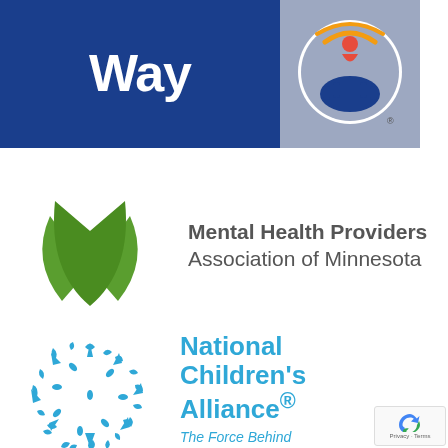[Figure (logo): United Way logo: dark blue rectangle with white text 'Way' and a gray rectangle with the United Way torch/hand icon in orange and blue]
[Figure (logo): Mental Health Providers Association of Minnesota logo: three green leaves icon and gray text reading 'Mental Health Providers Association of Minnesota']
[Figure (logo): National Children's Alliance logo: circular arrangement of blue hand/people icons and bold blue text reading 'National Children's Alliance' with registered trademark, and italic text 'The Force Behind Children's Advocacy Centers']